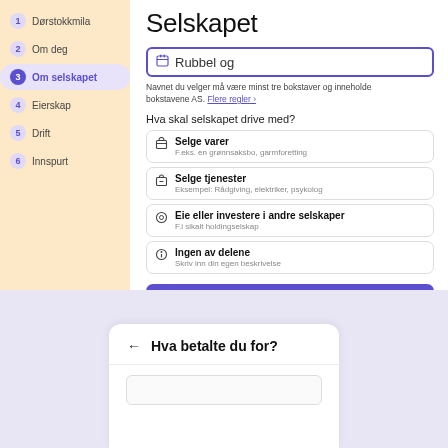1 Dørstokkmila
2 Om deg
3 Om selskapet
4 Eierskap
5 Drift
6 Innspurt
Selskapet
Rubbel og
Navnet du velger må være minst tre bokstaver og inneholde bokstavene AS. Flere regler ›
Hva skal selskapet drive med?
Selge varer
F.eks. en grønnsaksbo, garmforetting
Selge tjenester
Eksempel: Rådgiving, elektriker, psykolog
Eie eller investere i andre selskaper
F.i sikalt holdingselskap
Ingen av delene
Skriv inn din egen beskrivelse
Fortsett
← Hva betalte du for?